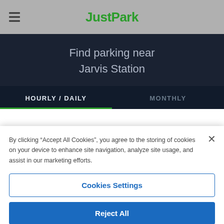[Figure (logo): JustPark logo with hamburger menu icon on the left, green bold 'JustPark' text centered on grey header bar]
Find parking near
Jarvis Station
HOURLY / DAILY	MONTHLY
By clicking “Accept All Cookies”, you agree to the storing of cookies on your device to enhance site navigation, analyze site usage, and assist in our marketing efforts.
Cookies Settings
Reject All